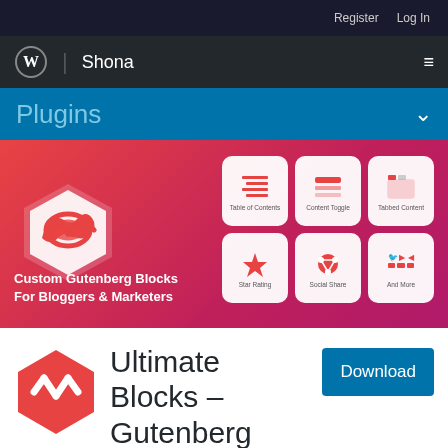Register   Log In
[Figure (logo): WordPress logo and Shona site title with hamburger menu on dark background]
Plugins
[Figure (screenshot): Ultimate Blocks plugin banner with hexagon logo, tagline 'Custom Gutenberg Blocks For Bloggers & Marketers', and 6 feature icons: Table of Contents, Content Toggle, Tabbed Content, Star Rating, Social Share, And More]
[Figure (logo): Ultimate Blocks red hexagon logo]
Ultimate Blocks – Gutenberg Blocks Plugin
Download